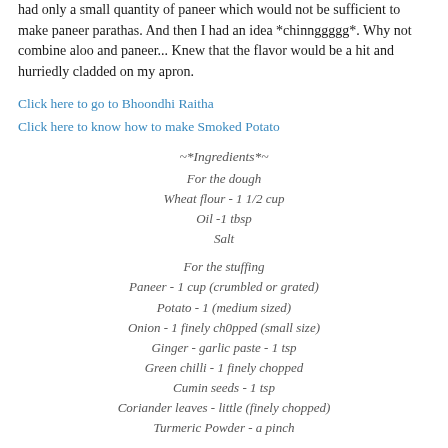had only a small quantity of paneer which would not be sufficient to make paneer parathas. And then I had an idea *chinnggggg*. Why not combine aloo and paneer... Knew that the flavor would be a hit and hurriedly cladded on my apron.
Click here to go to Bhoondhi Raitha
Click here to know how to make Smoked Potato
~*Ingredients*~
For the dough
Wheat flour - 1 1/2 cup
Oil -1 tbsp
Salt

For the stuffing
Paneer - 1 cup (crumbled or grated)
Potato - 1 (medium sized)
Onion - 1 finely ch0pped (small size)
Ginger - garlic paste - 1 tsp
Green chilli - 1 finely chopped
Cumin seeds - 1 tsp
Coriander leaves - little (finely chopped)
Turmeric Powder - a pinch